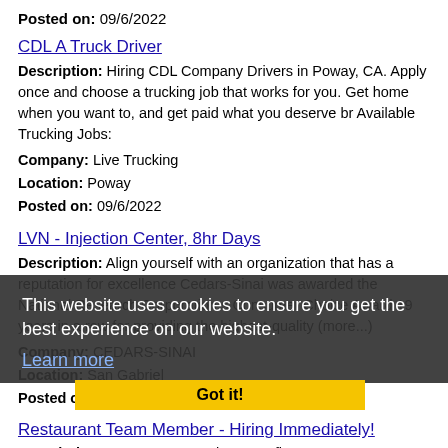Posted on: 09/6/2022
CDL A Truck Driver
Description: Hiring CDL Company Drivers in Poway, CA. Apply once and choose a trucking job that works for you. Get home when you want to, and get paid what you deserve br Available Trucking Jobs:
Company: Live Trucking
Location: Poway
Posted on: 09/6/2022
LVN - Injection Center, 8hr Days
Description: Align yourself with an organization that has a reputation for excellence Cedars-Sinai was awarded the National Research Corporation s Consumer Choice Award 19 years in a row for providing the highest-quality (more...)
Company: CEDARS-SINAI
Location: San Gabriel
Posted on: 09/6/2022
This website uses cookies to ensure you get the best experience on our website. Learn more
Got it!
Restaurant Team Member - Hiring Immediately!
Description: Cava Team Member Benefits at CAVA - We've got you covered. Here are just some of the benefits available to CAVA team members: - Competitive pay - Health, Dental, Vision, Telemedicine,